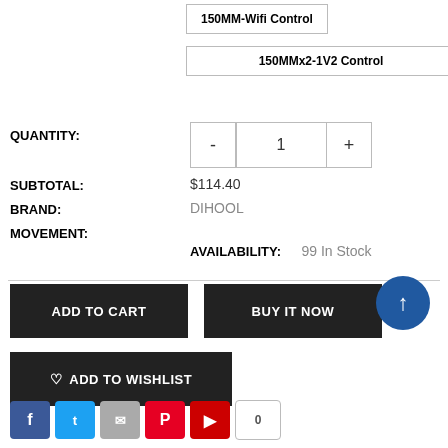150MM-Wifi Control
150MMx2-1V2 Control
QUANTITY: 1
SUBTOTAL: $114.40
BRAND: DIHOOL
MOVEMENT:
AVAILABILITY: 99 In Stock
ADD TO CART
BUY IT NOW
ADD TO WISHLIST